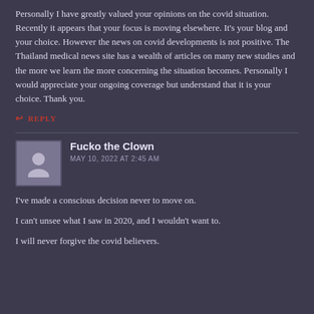Personally I have greatly valued your opinions on the covid situation. Recently it appears that your focus is moving elsewhere. It's your blog and your choice. However the news on covid developments is not positive. The Thailand medical news site has a wealth of articles on many new studies and the more we learn the more concerning the situation becomes. Personally I would appreciate your ongoing coverage but understand that it is your choice. Thank you.
↩ REPLY
Fucko the Clown
MAY 10, 2022 AT 2:45 AM
I've made a conscious decision never to move on.
I can't unsee what I saw in 2020, and I wouldn't want to.
I will never forgive the covid believers.